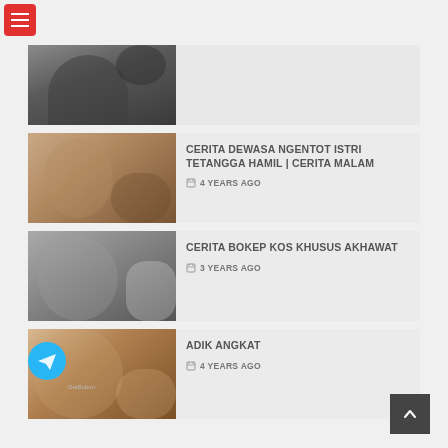[Figure (screenshot): Red hamburger menu button top left]
[Figure (photo): Partial thumbnail of woman in lingerie (first article, cropped at top)]
[Figure (photo): Thumbnail of woman in teal lingerie]
CERITA DEWASA NGENTOT ISTRI TETANGGA HAMIL | CERITA MALAM
4 YEARS AGO
[Figure (photo): Thumbnail of woman in white]
CERITA BOKEP KOS KHUSUS AKHAWAT
3 YEARS AGO
[Figure (photo): Thumbnail of woman on bed]
ADIK ANGKAT
4 YEARS AGO